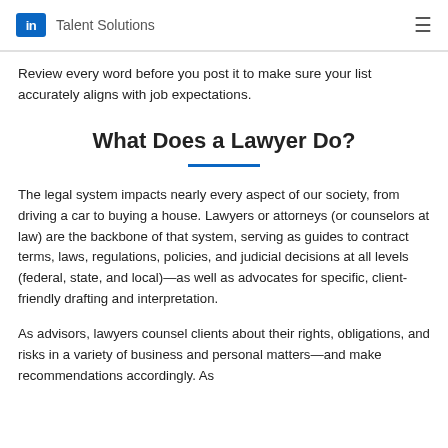LinkedIn Talent Solutions
Review every word before you post it to make sure your list accurately aligns with job expectations.
What Does a Lawyer Do?
The legal system impacts nearly every aspect of our society, from driving a car to buying a house. Lawyers or attorneys (or counselors at law) are the backbone of that system, serving as guides to contract terms, laws, regulations, policies, and judicial decisions at all levels (federal, state, and local)—as well as advocates for specific, client-friendly drafting and interpretation.
As advisors, lawyers counsel clients about their rights, obligations, and risks in a variety of business and personal matters—and make recommendations accordingly. As